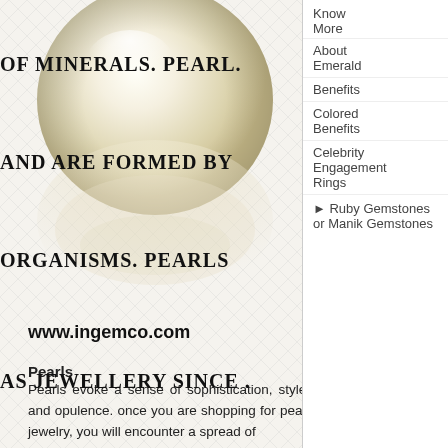[Figure (photo): Pearl gemstone photograph showing a large round cream/ivory pearl with reflection, displayed against a crosshatch/diamond pattern background]
OF MINERALS. PEARL
AND ARE FORMED BY
ORGANISMS. PEARLS
AS JEWELLERY SINCE
AND THEIR POPULA
STRONG TILL DATE.
Know More
About Emerald
Benefits
Colored Benefits
Celebrity Engagement Rings
▶ Ruby Gemstones or Manik Gemstones
www.ingemco.com
Pearls
Pearls evoke a sense of sophistication, style, and opulence. once you are shopping for pearl jewelry, you will encounter a spread of